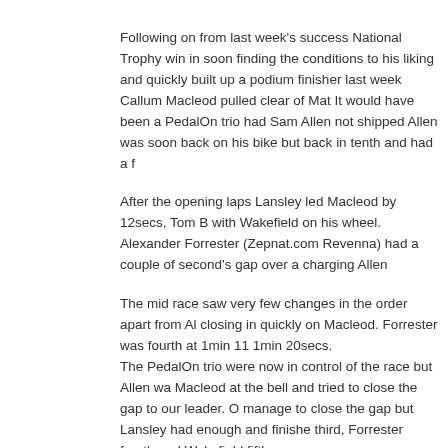Following on from last week's success National Trophy win in soon finding the conditions to his liking and quickly built up a podium finisher last week Callum Macleod pulled clear of Mat It would have been a PedalOn trio had Sam Allen not shipped Allen was soon back on his bike but back in tenth and had a f
After the opening laps Lansley led Macleod by 12secs, Tom B with Wakefield on his wheel. Alexander Forrester (Zepnat.com Revenna) had a couple of second's gap over a charging Allen
The mid race saw very few changes in the order apart from Al closing in quickly on Macleod. Forrester was fourth at 1min 11 1min 20secs. The PedalOn trio were now in control of the race but Allen wa Macleod at the bell and tried to close the gap to our leader. O manage to close the gap but Lansley had enough and finishe third, Forrester fourth and Wakefield fifth.